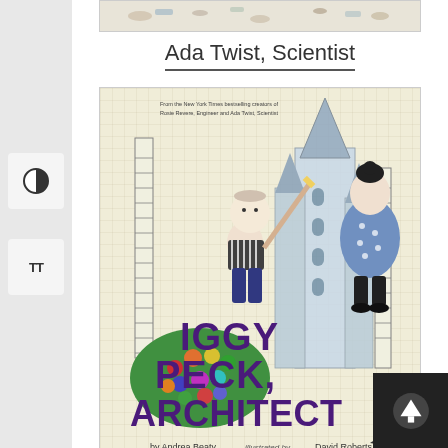[Figure (illustration): Partial top of Ada Twist, Scientist book cover]
Ada Twist, Scientist
[Figure (illustration): Cover of Iggy Peck, Architect book by Andrea Beaty illustrated by David Roberts, showing a character drawing a castle with grid paper background]
Iggy Peck, Architect
[Figure (illustration): Partial view of a third book cover from the series, showing light grid background with a character sketch]